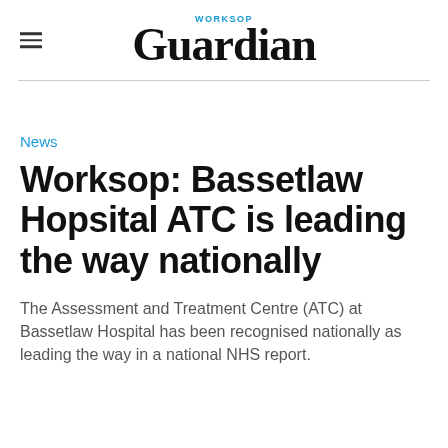WORKSOP Guardian
News
Worksop: Bassetlaw Hopsital ATC is leading the way nationally
The Assessment and Treatment Centre (ATC) at Bassetlaw Hospital has been recognised nationally as leading the way in a national NHS report.